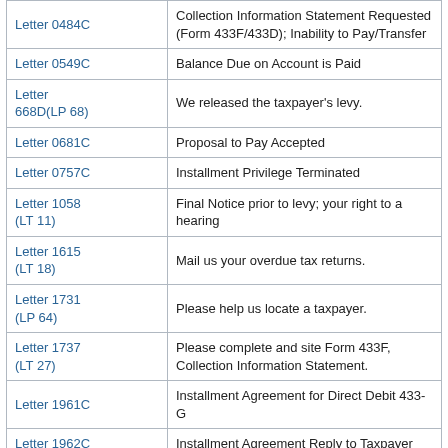| Letter | Description |
| --- | --- |
| Letter 0484C | Collection Information Statement Requested (Form 433F/433D); Inability to Pay/Transfer |
| Letter 0549C | Balance Due on Account is Paid |
| Letter 668D(LP 68) | We released the taxpayer's levy. |
| Letter 0681C | Proposal to Pay Accepted |
| Letter 0757C | Installment Privilege Terminated |
| Letter 1058 (LT 11) | Final Notice prior to levy; your right to a hearing |
| Letter 1615 (LT 18) | Mail us your overdue tax returns. |
| Letter 1731 (LP 64) | Please help us locate a taxpayer. |
| Letter 1737 (LT 27) | Please complete and site Form 433F, Collection Information Statement. |
| Letter 1961C | Installment Agreement for Direct Debit 433-G |
| Letter 1962C | Installment Agreement Reply to Taxpayer |
| Letter 2050 | Please call us about your overdue taxes or tax |